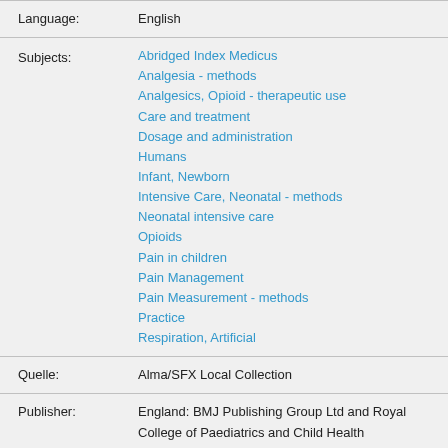| Field | Value |
| --- | --- |
| Language: | English |
| Subjects: | Abridged Index Medicus
Analgesia - methods
Analgesics, Opioid - therapeutic use
Care and treatment
Dosage and administration
Humans
Infant, Newborn
Intensive Care, Neonatal - methods
Neonatal intensive care
Opioids
Pain in children
Pain Management
Pain Measurement - methods
Practice
Respiration, Artificial |
| Quelle: | Alma/SFX Local Collection |
| Publisher: | England: BMJ Publishing Group Ltd and Royal College of Paediatrics and Child Health |
| ID: | ISSN: 1359-2998 |
| Link: | https://www.ncbi.nlm.nih.gov/pubmed/28576663... |